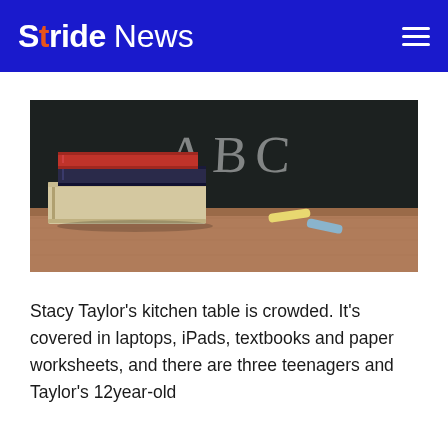Stride News
[Figure (photo): Books stacked on a wooden desk in front of a blackboard with 'ABC' written in chalk, with pieces of chalk nearby]
Stacy Taylor's kitchen table is crowded. It's covered in laptops, iPads, textbooks and paper worksheets, and there are three teenagers and Taylor's 12year-old